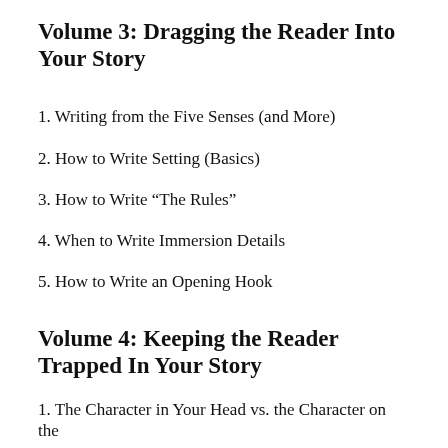Volume 3: Dragging the Reader Into Your Story
1. Writing from the Five Senses (and More)
2. How to Write Setting (Basics)
3. How to Write “The Rules”
4. When to Write Immersion Details
5. How to Write an Opening Hook
Volume 4: Keeping the Reader Trapped In Your Story
1. The Character in Your Head vs. the Character on the